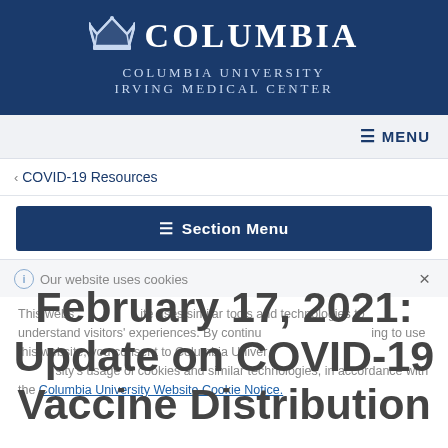[Figure (logo): Columbia University Irving Medical Center logo with crown icon and text]
≡ MENU
< COVID-19 Resources
≡ Section Menu
ⓘ Our website uses cookies  ×
February 17, 2021: Update on COVID-19 Vaccine Distribution
This website uses cookies and similar tools and technologies to understand visitors' experiences. By continuing to use this website, you consent to Columbia University's usage of cookies and similar technologies, in accordance with the Columbia University Website Cookie Notice.